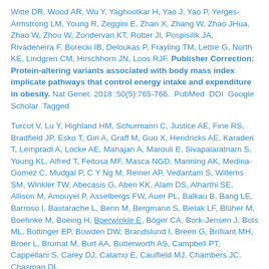Witte DR, Wood AR, Wu Y, Yaghootkar H, Yao J, Yao P, Yerges-Armstrong LM, Young R, Zeggini E, Zhan X, Zhang W, Zhao JHua, Zhao W, Zhou W, Zondervan KT, Rotter JI, Pospisilik JA, Rivadeneira F, Borecki IB, Deloukas P, Frayling TM, Lettre G, North KE, Lindgren CM, Hirschhorn JN, Loos RJF. Publisher Correction: Protein-altering variants associated with body mass index implicate pathways that control energy intake and expenditure in obesity. Nat Genet. 2018 ;50(5):765-766.  PubMed  DOI  Google Scholar  Tagged
Turcot V, Lu Y, Highland HM, Schurmann C, Justice AE, Fine RS, Bradfield JP, Esko T, Giri A, Graff M, Guo X, Hendricks AE, Karaderi T, Lempradl A, Locke AE, Mahajan A, Marouli E, Sivapalaratnam S, Young KL, Alfred T, Feitosa MF, Masca NGD, Manning AK, Medina-Gomez C, Mudgal P, C Y Ng M, Reiner AP, Vedantam S, Willems SM, Winkler TW, Abecasis G, Aben KK, Alam DS, Alharthi SE, Allison M, Amouyel P, Asselbergs FW, Auer PL, Balkau B, Bang LE, Barroso I, Bastarache L, Benn M, Bergmann S, Bielak LF, Blüher M, Boehnke M, Boeing H, Boerwinkle E, Böger CA, Bork-Jensen J, Bots ML, Bottinger EP, Bowden DW, Brandslund I, Breen G, Brilliant MH, Broer L, Brumat M, Burt AA, Butterworth AS, Campbell PT, Cappellani S, Carey DJ, Catamo E, Caulfield MJ, Chambers JC, Chasman DI,